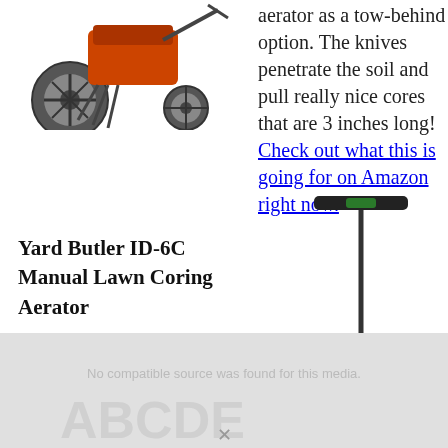[Figure (photo): Photo of a motorized tow-behind aerator machine with large wheels and orange engine]
aerator as a tow-behind option. The knives penetrate the soil and pull really nice cores that are 3 inches long! Check out what this is going for on Amazon right now.
[Figure (photo): Photo of a Yard Butler ID-6C Manual Lawn Coring Aerator — a tall T-shaped manual tool with two tines at the bottom]
Yard Butler ID-6C Manual Lawn Coring Aerator
I really like this
[Figure (photo): Partially visible image at the bottom with 'No compatible source was found for this media.' watermark text]